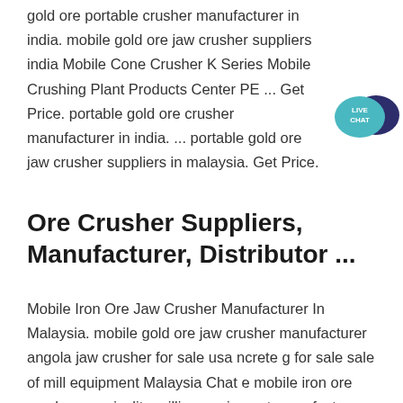gold ore portable crusher manufacturer in india. mobile gold ore jaw crusher suppliers india Mobile Cone Crusher K Series Mobile Crushing Plant Products Center PE ... Get Price. portable gold ore crusher manufacturer in india. ... portable gold ore jaw crusher suppliers in malaysia. Get Price.
[Figure (other): Live Chat badge icon — teal speech bubble with dark navy chat bubble overlay, text 'LIVE CHAT' in white]
Ore Crusher Suppliers, Manufacturer, Distributor ...
Mobile Iron Ore Jaw Crusher Manufacturer In Malaysia. mobile gold ore jaw crusher manufacturer angola jaw crusher for sale usa ncrete g for sale sale of mill equipment Malaysia Chat e mobile iron ore crusher vermiculite milling equipment manufacturer Asbestos Toxicity Who Is at Risk of Exposure to Aug 9